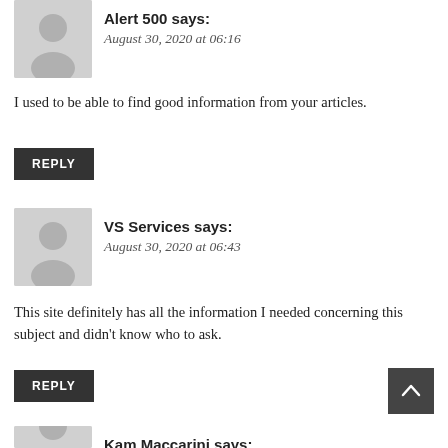Alert 500 says:
August 30, 2020 at 06:16
I used to be able to find good information from your articles.
REPLY
VS Services says:
August 30, 2020 at 06:43
This site definitely has all the information I needed concerning this subject and didn't know who to ask.
REPLY
Kam Maccarini says:
August 30, 2020 at 14:09